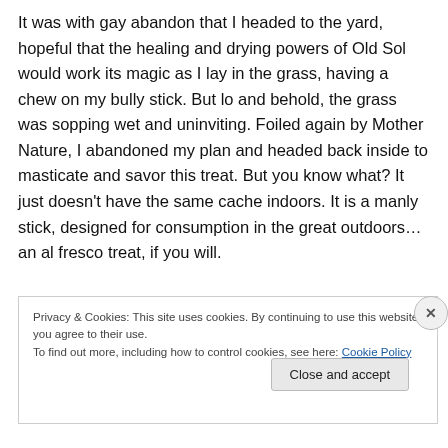It was with gay abandon that I headed to the yard, hopeful that the healing and drying powers of Old Sol would work its magic as I lay in the grass, having a chew on my bully stick. But lo and behold, the grass was sopping wet and uninviting. Foiled again by Mother Nature, I abandoned my plan and headed back inside to masticate and savor this treat. But you know what? It just doesn't have the same cache indoors. It is a manly stick, designed for consumption in the great outdoors…an al fresco treat, if you will.
Privacy & Cookies: This site uses cookies. By continuing to use this website, you agree to their use.
To find out more, including how to control cookies, see here: Cookie Policy